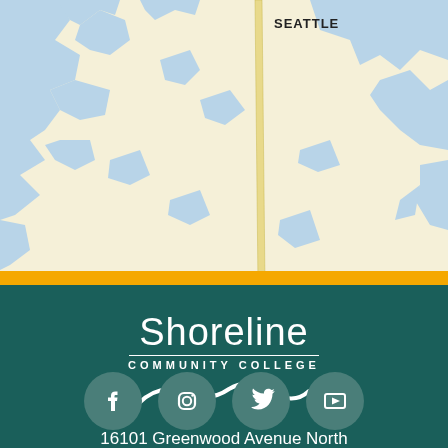[Figure (map): Partial map showing Seattle area with water bodies in light blue, land in cream/beige, and a road/highway running vertically. 'SEATTLE' label visible at top.]
[Figure (logo): Shoreline Community College logo in white on dark teal background, with wave graphic beneath]
16101 Greenwood Avenue North
Shoreline, WA 98133-5696
206-546-4101
[Figure (infographic): Four circular social media icons: Facebook, Instagram, Twitter, YouTube]